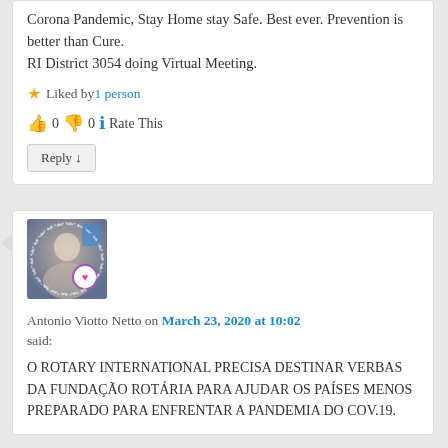Corona Pandemic, Stay Home stay Safe. Best ever. Prevention is better than Cure. RI District 3054 doing Virtual Meeting.
★ Liked by 1 person
👍 0 👎 0 ℹ Rate This
Reply ↓
[Figure (photo): Avatar photo of Antonio Viotto Netto with a heart badge overlay and circular stamp ring]
Antonio Viotto Netto on March 23, 2020 at 10:02 said:
O ROTARY INTERNATIONAL PRECISA DESTINAR VERBAS DA FUNDAÇÃO ROTÁRIA PARA AJUDAR OS PAÍSES MENOS PREPARADO PARA ENFRENTAR A PANDEMIA DO COV.19.